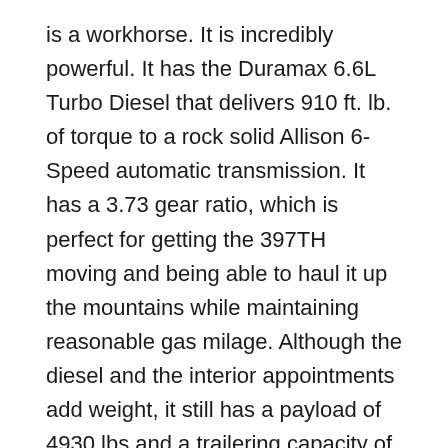is a workhorse. It is incredibly powerful. It has the Duramax 6.6L Turbo Diesel that delivers 910 ft. lb. of torque to a rock solid Allison 6-Speed automatic transmission. It has a 3.73 gear ratio, which is perfect for getting the 397TH moving and being able to haul it up the mountains while maintaining reasonable gas milage. Although the diesel and the interior appointments add weight, it still has a payload of 4930 lbs and a trailering capacity of 22,700 lbs.
I know I am biased, but I think the GMC and 397TH look very good together. I see a lot